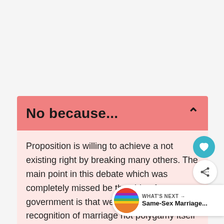No because...
Proposition is willing to achieve a not existing right by breaking many others. The main point in this debate which was completely missed be the side of government is that we talking about recognition of marriage not polygamy itself so everybody is